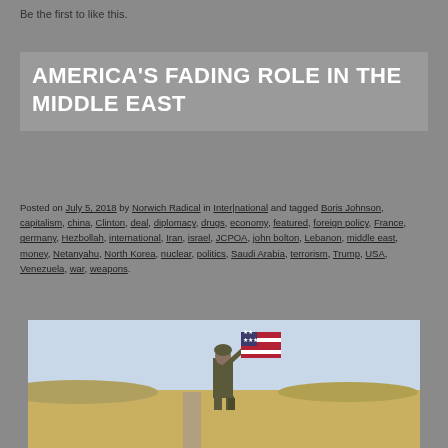Be the first to like this.
AMERICA'S FADING ROLE IN THE MIDDLE EAST
Posted on July 5, 2018 by Norwich Radical in Inter|national and tagged Boris Johnson, capitalism, china, Clinton, deal, diplomacy, drugs, economy, featured, foreign policy, France, germany, Hezbollah, international, Iran, israel, JCPOA, john bolton, Lebanon, middle east, money, Netanyahu, North Korea, nuclear, politics, Saudi Arabia, terrorism, Trump, USA, Venezuela, war, weapons.
[Figure (photo): A soldier holding an American flag in a desert landscape]